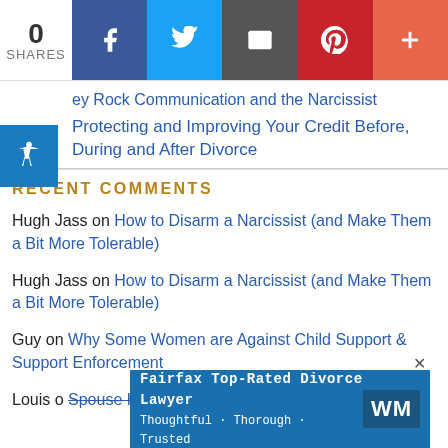[Figure (infographic): Social share bar with count 0 SHARES, Facebook, Twitter, Email, Pinterest, and More buttons]
[Figure (infographic): Blue accessibility icon overlay in top-left]
Grey Rock Communication and the Narcissist
Protecting and Improving Your Credit Before, During and After Divorce
RECENT COMMENTS
Hugh Jass on How to Disarm a Narcissist (and Make Them a Bit More Tolerable)
Hugh Jass on How to Disarm a Narcissist (and Make Them a Bit More Tolerable)
Guy on Why Some Women are Against Child Support & Support Enforcement
Louis o... [partial] Spouse Has Cheated
[Figure (infographic): Advertisement banner: Fairfax Top-Rated Divorce Lawyer — Thoughtful · Thorough · Trusted with WM logo]